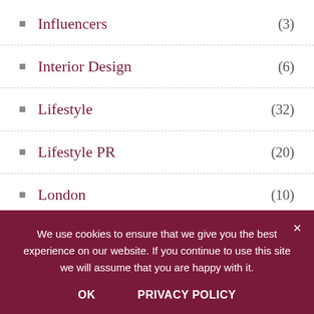Influencers (3)
Interior Design (6)
Lifestyle (32)
Lifestyle PR (20)
London (10)
Luxury (69)
We use cookies to ensure that we give you the best experience on our website. If you continue to use this site we will assume that you are happy with it.
OK   PRIVACY POLICY